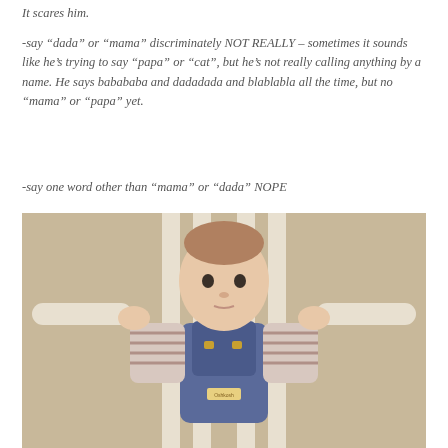It scares him.
-say “dada” or “mama” discriminately NOT REALLY – sometimes it sounds like he’s trying to say “papa” or “cat”, but he’s not really calling anything by a name. He says babababa and dadadada and blablabla all the time, but no “mama” or “papa” yet.
-say one word other than “mama” or “dada” NOPE
[Figure (photo): Baby sitting in a white rocking chair, wearing denim overalls and a striped long-sleeve shirt, arms extended out to each side gripping the chair arms, looking at the camera with a serious expression.]